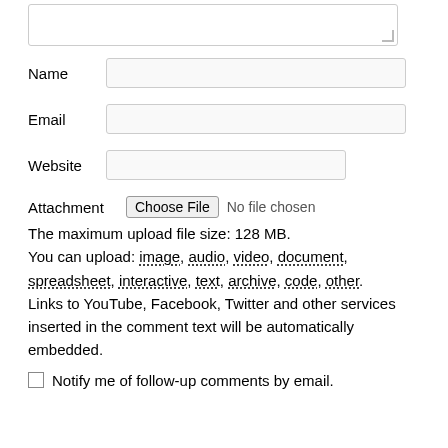[Figure (screenshot): Textarea input box at top of page, partially visible]
Name
Email
Website
Attachment  Choose File  No file chosen
The maximum upload file size: 128 MB.
You can upload: image, audio, video, document, spreadsheet, interactive, text, archive, code, other.
Links to YouTube, Facebook, Twitter and other services inserted in the comment text will be automatically embedded.
Notify me of follow-up comments by email.